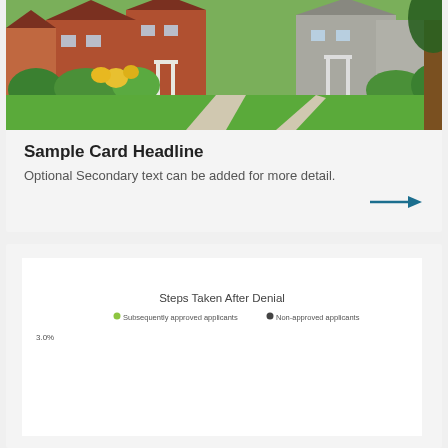[Figure (photo): Suburban neighborhood street view with green lawns, garden beds with yellow flowers, concrete walkways, and residential houses with front porches.]
Sample Card Headline
Optional Secondary text can be added for more detail.
[Figure (other): Arrow icon pointing right in teal/blue color]
[Figure (bar-chart): Bar chart showing steps taken after denial with two series: Subsequently approved applicants and Non-approved applicants. Chart is partially cut off.]